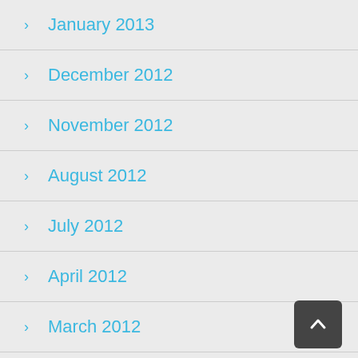January 2013
December 2012
November 2012
August 2012
July 2012
April 2012
March 2012
February 2012
January 2012